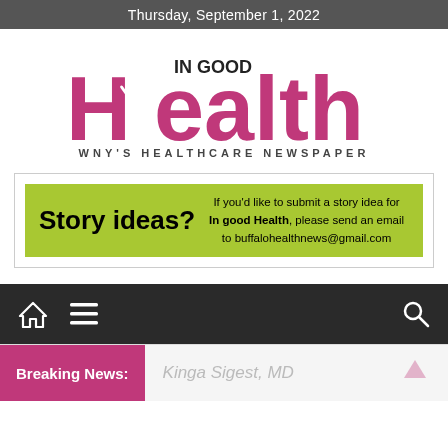Thursday, September 1, 2022
[Figure (logo): In Good Health - WNY's Healthcare Newspaper logo with runner silhouette in magenta/pink]
[Figure (infographic): Story ideas? banner on lime green background with text: If you'd like to submit a story idea for In good Health, please send an email to buffalohealthnews@gmail.com]
[Figure (screenshot): Navigation bar with home, hamburger menu, and search icons on dark background]
Breaking News:
Kinga Sigest, MD